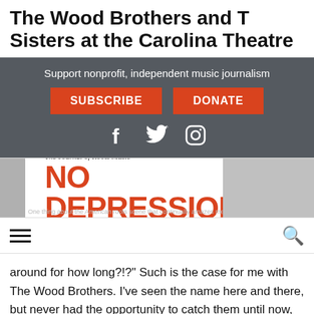The Wood Brothers and T Sisters at the Carolina Theatre
Support nonprofit, independent music journalism
SUBSCRIBE   DONATE
[Figure (other): No Depression - The Journal of Roots Music logo with orange bold text and social media icons (Facebook, Twitter, Instagram) on dark grey background]
[Figure (other): No Depression website advertisement banner showing The Journal of Roots Music logo in orange]
Navigation bar with hamburger menu and search icon
around for how long?!?” Such is the case for me with The Wood Brothers. I’ve seen the name here and there, but never had the opportunity to catch them until now, nor did I realize that Oliver and Chris Wood along with Jano Rix on drums, keys and shitar have been making music together for over 10 years now. Better late than never they say, so when I saw they were coming to the area with the